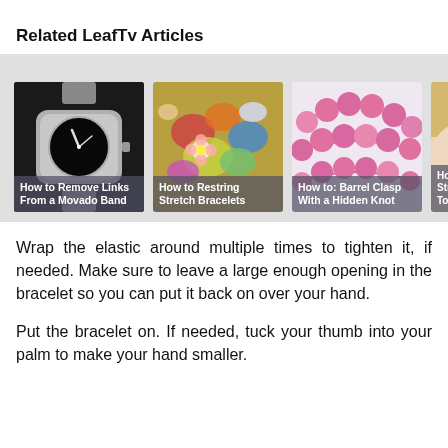Related LeafTv Articles
[Figure (illustration): Carousel of four article cards: 'How to Remove Links From a Movado Band' (watch image), 'How to Restring Stretch Bracelets' (colorful jewelry image), 'How to: Barrel Clasp With a Hidden Knot' (pink beads image), 'How to [Shorten Watch] Straps T[hat Are] Too Lo[ng]' (person image, partially visible)]
Wrap the elastic around multiple times to tighten it, if needed. Make sure to leave a large enough opening in the bracelet so you can put it back on over your hand.
Put the bracelet on. If needed, tuck your thumb into your palm to make your hand smaller.